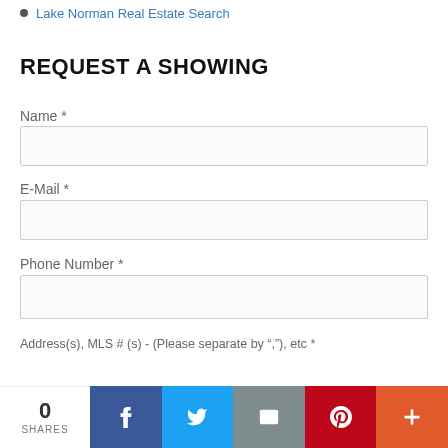Lake Norman Real Estate Search
REQUEST A SHOWING
Name *
E-Mail *
Phone Number *
Address(s), MLS # (s) - (Please separate by ","), etc *
[Figure (infographic): Social share bar showing 0 shares and buttons for Facebook, Twitter, Email, Pinterest, and More (+)]